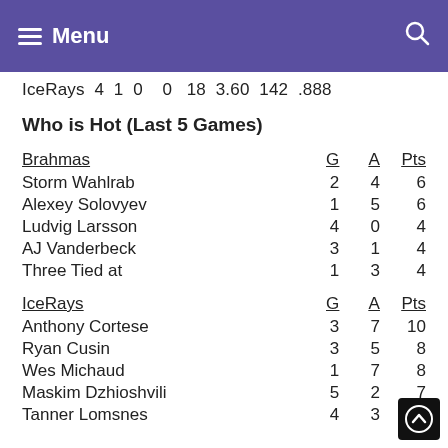Menu
IceRays 4 1 0 0 18 3.60 142 .888
Who is Hot (Last 5 Games)
| Brahmas | G | A | Pts |
| --- | --- | --- | --- |
| Storm Wahlrab | 2 | 4 | 6 |
| Alexey Solovyev | 1 | 5 | 6 |
| Ludvig Larsson | 4 | 0 | 4 |
| AJ Vanderbeck | 3 | 1 | 4 |
| Three Tied at | 1 | 3 | 4 |
| IceRays | G | A | Pts |
| --- | --- | --- | --- |
| Anthony Cortese | 3 | 7 | 10 |
| Ryan Cusin | 3 | 5 | 8 |
| Wes Michaud | 1 | 7 | 8 |
| Maskim Dzhioshvili | 5 | 2 | 7 |
| Tanner Lomsnes | 4 | 3 | 7 |